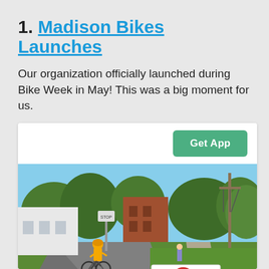1. Madison Bikes Launches
Our organization officially launched during Bike Week in May! This was a big moment for us.
[Figure (photo): Outdoor photo of a cyclist wearing a high-visibility orange vest riding on a street, with a Madison Bikes Local Advocacy sign in the foreground, trees and buildings in the background, on a sunny day. A Get App green button appears in the card header above the photo.]